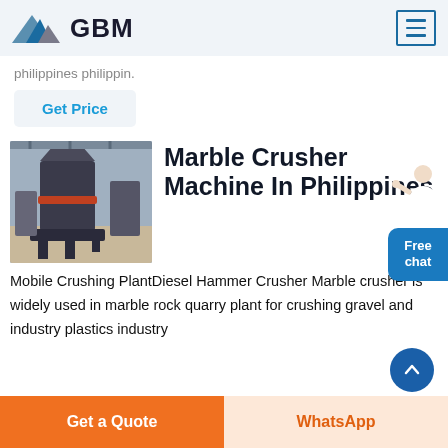GBM
philippines philippin.
Get Price
Marble Crusher Machine In Philippines
[Figure (photo): Industrial marble crusher machine in a factory/quarry plant setting]
Mobile Crushing PlantDiesel Hammer Crusher Marble crusher is widely used in marble rock quarry plant for crushing gravel and industry plastics industry
Get a Quote
WhatsApp